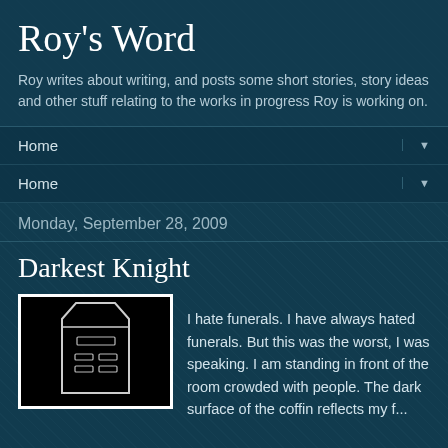Roy's Word
Roy writes about writing, and posts some short stories, story ideas and other stuff relating to the works in progress Roy is working on.
Home ▼
Home ▼
Monday, September 28, 2009
Darkest Knight
[Figure (illustration): Black background with white outline drawing of a coffin shape]
I hate funerals. I have always hated funerals. But this was the worst, I was speaking. I am standing in front of the room crowded with people. The dark surface of the coffin reflects my f...